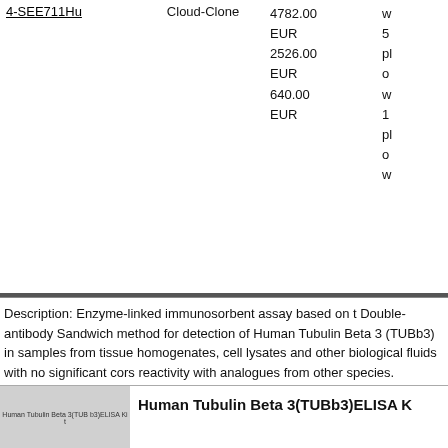| Product ID | Vendor | Price | Description |
| --- | --- | --- | --- |
| 4-SEE711Hu | Cloud-Clone | 4782.00
EUR
2526.00
EUR
640.00
EUR | w...
5...
pl...
o...
w...
1...
pl...
o...
w... |
Description: Enzyme-linked immunosorbent assay based on the Double-antibody Sandwich method for detection of Human Tubulin Beta 3 (TUBb3) in samples from tissue homogenates, cell lysates and other biological fluids with no significant cross-reactivity with analogues from other species.
Human Tubulin Beta 3(TUBb3)ELISA K...